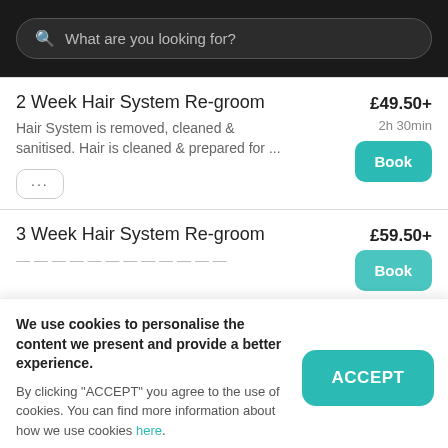What are you looking for?
2 Week Hair System Re-groom
Hair System is removed, cleaned & sanitised. Hair is cleaned & prepared for ...
£49.50+
2h 30min
3 Week Hair System Re-groom
£59.50+
We use cookies to personalise the content we present and provide a better experience.
By clicking "ACCEPT" you agree to the use of cookies. You can find more information about how we use cookies here.
sanitised. Hair is cleaned & prepared for ...
2h 30min